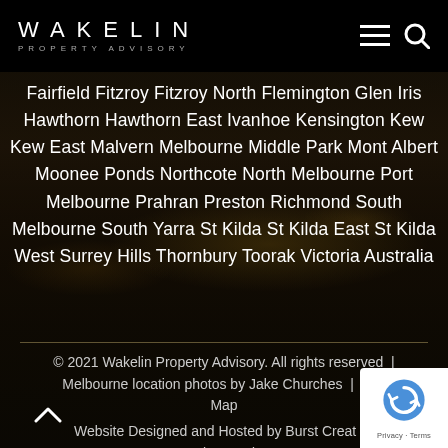WAKELIN PROPERTY ADVISORY
Fairfield Fitzroy Fitzroy North Flemington Glen Iris Hawthorn Hawthorn East Ivanhoe Kensington Kew Kew East Malvern Melbourne Middle Park Mont Albert Moonee Ponds Northcote North Melbourne Port Melbourne Prahran Preston Richmond South Melbourne South Yarra St Kilda St Kilda East St Kilda West Surrey Hills Thornbury Toorak Victoria Australia
© 2021 Wakelin Property Advisory. All rights reserved  |  Melbourne location photos by Jake Churches  |  Site Map
Website Designed and Hosted by Burst Creative Ringwood